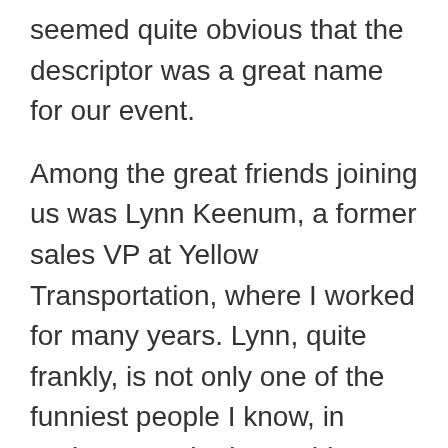seemed quite obvious that the descriptor was a great name for our event.
Among the great friends joining us was Lynn Keenum, a former sales VP at Yellow Transportation, where I worked for many years. Lynn, quite frankly, is not only one of the funniest people I know, in “retirement,” he is reaching out to combine his love of horses with providing therapy for young people with learning and developmental challenges. It’s truly a wonderful calling, and Lynn is the perfect person to be at the center of it.
While he was at #InnobeerATL, Lynn told one of my two favorite stories of his – recounting his take on Tom Peters speaking to the first